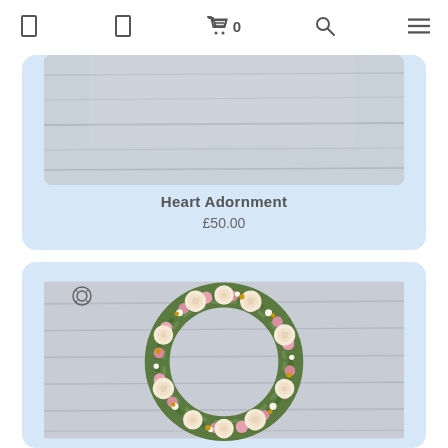Navigation bar with cart showing 0 items
[Figure (photo): Partial view of a floral heart adornment arrangement on a grey wooden surface]
Heart Adornment
£50.00
[Figure (photo): A circular funeral wreath made of cream roses, pink alstroemeria, white flowers and green foliage, photographed on a grey wooden surface]